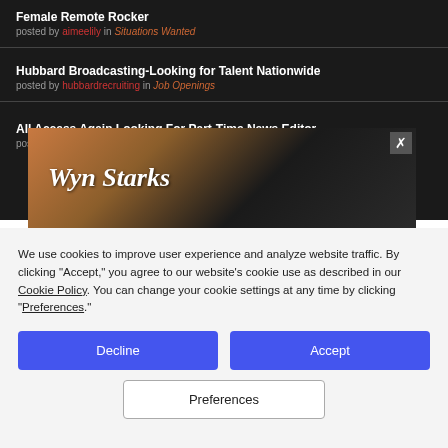Female Remote Rocker
posted by aimeelily in Situations Wanted
Hubbard Broadcasting-Looking for Talent Nationwide
posted by hubbardrecruiting in Job Openings
All Access Again Looking For Part-Time News Editor
posted by ...
[Figure (photo): Wyn Starks promotional advertisement overlay with close button]
We use cookies to improve user experience and analyze website traffic. By clicking "Accept," you agree to our website's cookie use as described in our Cookie Policy. You can change your cookie settings at any time by clicking "Preferences."
Decline
Accept
Preferences